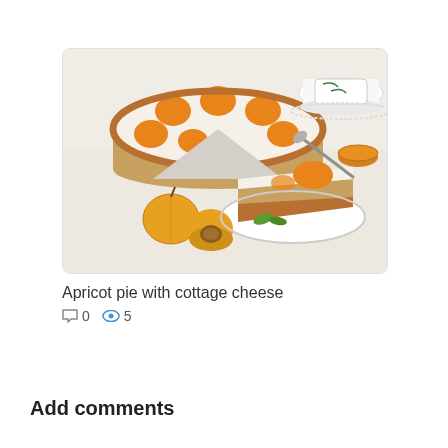[Figure (photo): A cheesecake with apricot toppings, a slice on a white plate, fresh apricots, a teacup and small bowl of jam in the background on a light surface.]
Apricot pie with cottage cheese
0  5
Add comments